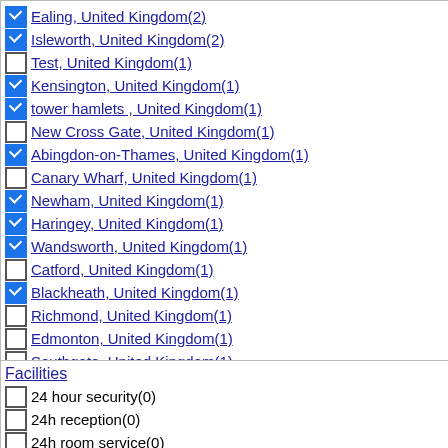Ealing, United Kingdom(2) [checked]
Isleworth, United Kingdom(2) [checked]
Test, United Kingdom(1) [unchecked]
Kensington, United Kingdom(1) [checked]
tower hamlets , United Kingdom(1) [checked]
New Cross Gate, United Kingdom(1) [unchecked]
Abingdon-on-Thames, United Kingdom(1) [checked]
Canary Wharf, United Kingdom(1) [unchecked]
Newham, United Kingdom(1) [checked]
Haringey, United Kingdom(1) [checked]
Wandsworth, United Kingdom(1) [checked]
Catford, United Kingdom(1) [unchecked]
Blackheath, United Kingdom(1) [checked]
Richmond, United Kingdom(1) [unchecked]
Edmonton, United Kingdom(1) [unchecked]
Southgate, United Kingdom(1) [unchecked]
Northolt, United Kingdom(1) [unchecked]
clear [x]
Facilities
24 hour security(0) [unchecked]
24h reception(0) [unchecked]
24h room service(0) [unchecked]